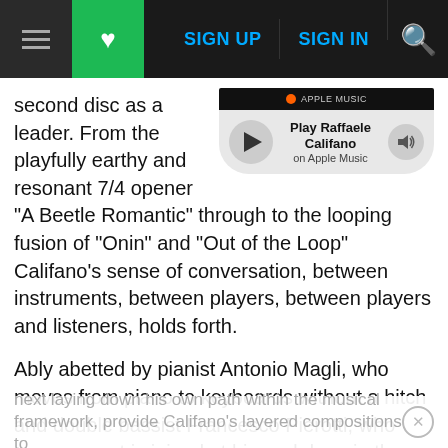SIGN UP  SIGN IN
[Figure (screenshot): Apple Music Play Raffaele Califano widget with play button and volume control]
second disc as a leader. From the playfully earthy and resonant 7/4 opener "A Beetle Romantic" through to the looping fusion of "Onin" and "Out of the Loop" Califano's sense of conversation, between instruments, between players, between players and listeners, holds forth.
Ably abetted by pianist Antonio Magli, who moves from piano to keyboards without a hitch and double bassist Francesco Pierotti, who one moment is joined at hip and deep in the pocket with his drummer and the next laying down his own path within the musical framework, provide Califano's layered compositions to